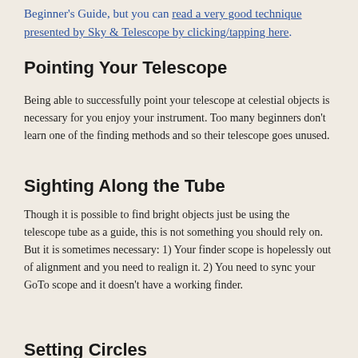Beginner's Guide, but you can read a very good technique presented by Sky & Telescope by clicking/tapping here.
Pointing Your Telescope
Being able to successfully point your telescope at celestial objects is necessary for you enjoy your instrument. Too many beginners don't learn one of the finding methods and so their telescope goes unused.
Sighting Along the Tube
Though it is possible to find bright objects just be using the telescope tube as a guide, this is not something you should rely on. But it is sometimes necessary: 1) Your finder scope is hopelessly out of alignment and you need to realign it. 2) You need to sync your GoTo scope and it doesn't have a working finder.
Setting Circles